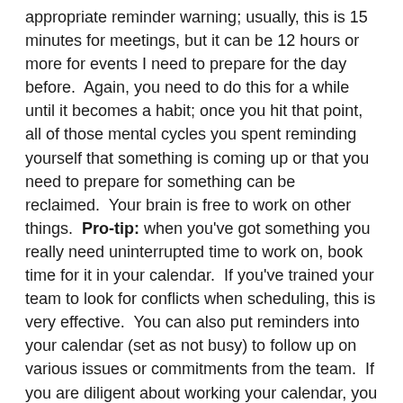appropriate reminder warning; usually, this is 15 minutes for meetings, but it can be 12 hours or more for events I need to prepare for the day before.  Again, you need to do this for a while until it becomes a habit; once you hit that point, all of those mental cycles you spent reminding yourself that something is coming up or that you need to prepare for something can be reclaimed.  Your brain is free to work on other things.  Pro-tip: when you've got something you really need uninterrupted time to work on, book time for it in your calendar.  If you've trained your team to look for conflicts when scheduling, this is very effective.  You can also put reminders into your calendar (set as not busy) to follow up on various issues or commitments from the team.  If you are diligent about working your calendar, you can see at a glance in the morning how much time you're going to have to devote to that to-do list.
Clean your desk at the end of the day. It doesn't have to be spotless; nor do you need the perfect organizing system.